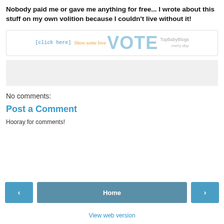Nobody paid me or gave me anything for free... I wrote about this stuff on my own volition because I couldn't live without it!
[Figure (other): TopBabyBlogs vote banner with [click here] text, 'Show some love' in orange italic, large VOTE text in light blue, and 'TopBabyBlogs every day' on the right]
[Figure (other): Gray advertisement placeholder box]
No comments:
Post a Comment
Hooray for comments!
< Home > View web version